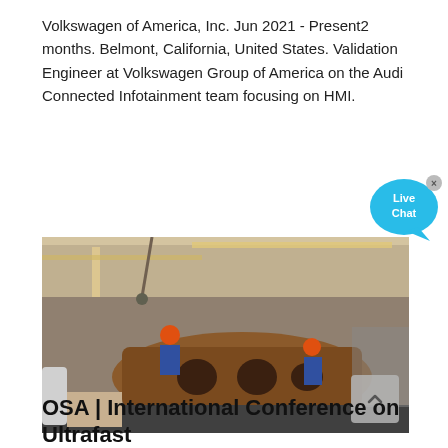Volkswagen of America, Inc. Jun 2021 - Present2 months. Belmont, California, United States. Validation Engineer at Volkswagen Group of America on the Audi Connected Infotainment team focusing on HMI.
[Figure (photo): Industrial factory floor scene showing workers in red hard hats and blue overalls working on a large heavy metal component (appears to be heavy machinery or mining equipment) inside a large industrial building with overhead cranes and equipment visible.]
OSA | International Conference on Ultrafast